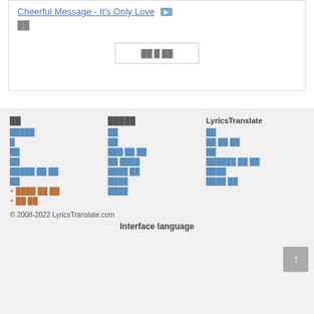Cheerful Message - It's Only Love ▶
██
██ █ ██
██
█████
LyricsTranslate
█████
██
██
█████ ██ ██
██
██
██ ████
██████ ██ ██
██
███ ██ ██
████ ██ ██
████
████
████ ██
████
████ ██ ██
████
+ ████ ██ ██
+ ██ ██
© 2008-2022 LyricsTranslate.com
Interface language